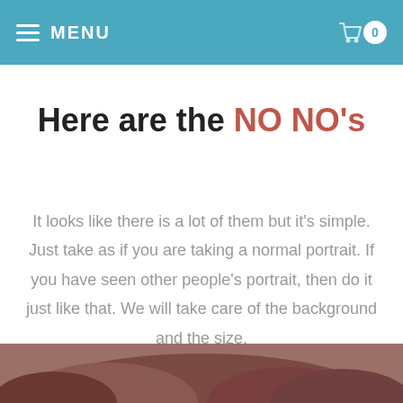MENU | 0
Here are the NO NO's
It looks like there is a lot of them but it's simple. Just take as if you are taking a normal portrait. If you have seen other people's portrait, then do it just like that. We will take care of the background and the size.
[Figure (photo): Bottom portion of a person's hair, reddish-brown color, partially visible at the bottom of the page.]